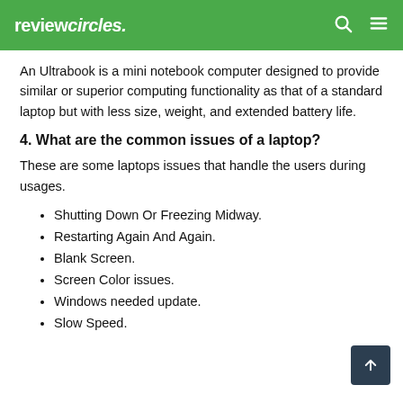reviewcircles
An Ultrabook is a mini notebook computer designed to provide similar or superior computing functionality as that of a standard laptop but with less size, weight, and extended battery life.
4. What are the common issues of a laptop?
These are some laptops issues that handle the users during usages.
Shutting Down Or Freezing Midway.
Restarting Again And Again.
Blank Screen.
Screen Color issues.
Windows needed update.
Slow Speed.